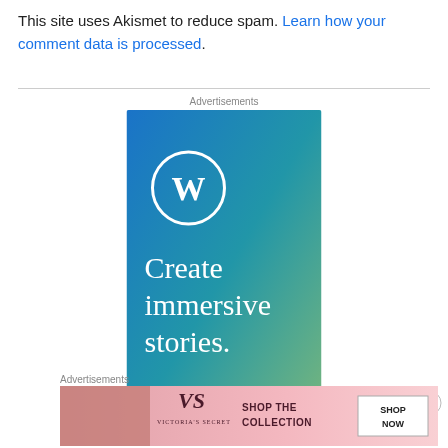This site uses Akismet to reduce spam. Learn how your comment data is processed.
Advertisements
[Figure (illustration): WordPress advertisement with blue-to-green gradient background. Shows WordPress W logo in a circle, text 'Create immersive stories.' and 'GET THE APP' button.]
Advertisements
[Figure (illustration): Victoria's Secret advertisement showing a model on a pink background with Victoria's Secret logo, text 'SHOP THE COLLECTION' and a 'SHOP NOW' button.]